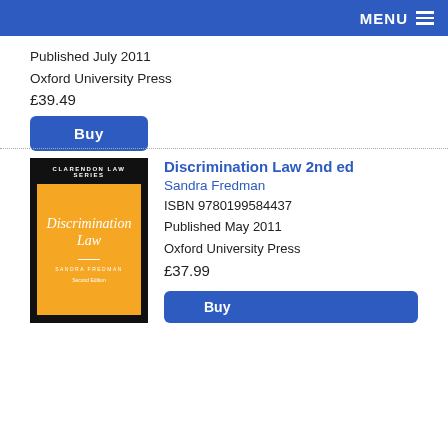MENU
Published July 2011
Oxford University Press
£39.49
Buy
[Figure (illustration): Book cover for 'Discrimination Law 2nd ed' by Sandra Fredman. Clarendon Law Series, orange cover with white italic title text and author name.]
Discrimination Law 2nd ed
Sandra Fredman
ISBN 9780199584437
Published May 2011
Oxford University Press
£37.99